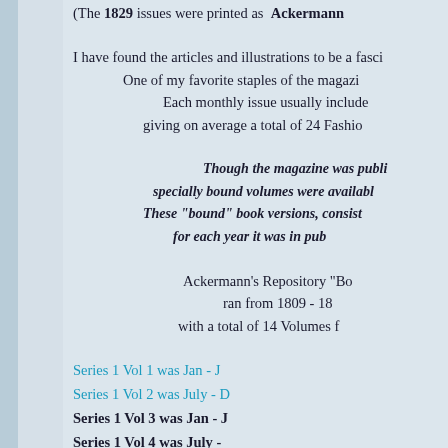(The 1829 issues were printed as  Ackermann’s
I have found the articles and illustrations to be a fasci… One of my favorite staples of the magazi… Each monthly issue usually include… giving on average a total of 24 Fashio…
Though the magazine was publi… specially bound volumes were availabl… These “bound” book versions, consist… for each year it was in pub…
Ackermann’s Repository “Bo… ran from 1809 - 18… with a total of 14 Volumes f…
Series 1 Vol 1 was Jan - J…
Series 1 Vol 2 was July - D…
Series 1 Vol 3 was Jan - J…
Series 1 Vol 4 was July - …
Series 1 Vol 5 was Jan - J…